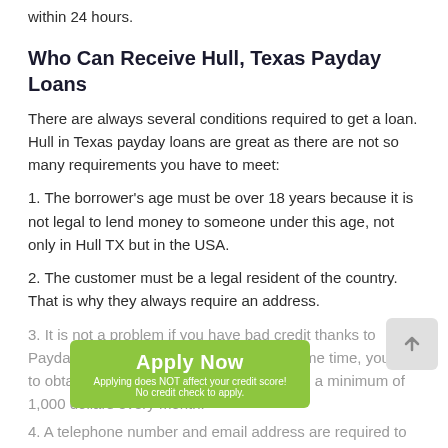within 24 hours.
Who Can Receive Hull, Texas Payday Loans
There are always several conditions required to get a loan. Hull in Texas payday loans are great as there are not so many requirements you have to meet:
1. The borrower's age must be over 18 years because it is not legal to lend money to someone under this age, not only in Hull TX but in the USA.
2. The customer must be a legal resident of the country. That is why they always require an address.
3. It is not a problem if you have bad credit thanks to Payday Loans No Credit Check. At the same time, you are to obtain a stable income, which should be a minimum of 1,000 dollars every month.
4. A telephone number and email address are required to
[Figure (other): Green 'Apply Now' button overlay with text 'Applying does NOT affect your credit score! No credit check to apply.']